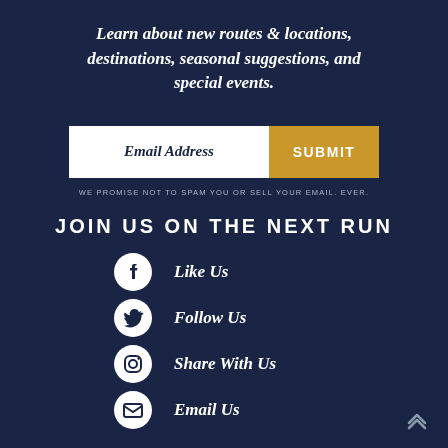Learn about new routes & locations, destinations, seasonal suggestions, and special events.
[Figure (other): Email address input field with Submit button]
WE PROMISE NOT TO SPAM YOU OR SELL YOUR EMAIL. EVER.
JOIN US ON THE NEXT RUN
Like Us
Follow Us
Share With Us
Email Us